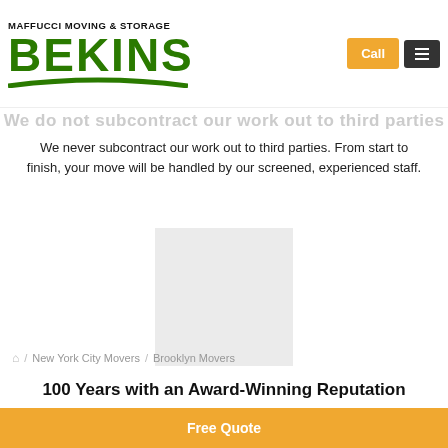MAFFUCCI MOVING & STORAGE BEKINS — Call / Menu
We do not subcontract our work
We never subcontract our work out to third parties. From start to finish, your move will be handled by our screened, experienced staff.
[Figure (photo): Placeholder image block (light gray rectangle)]
100 Years with an Award-Winning Reputation
Since 1909, we've received top industry accolades—demonstrating our commitment to quality and customer care.
Home / New York City Movers / Brooklyn Movers
Free Quote